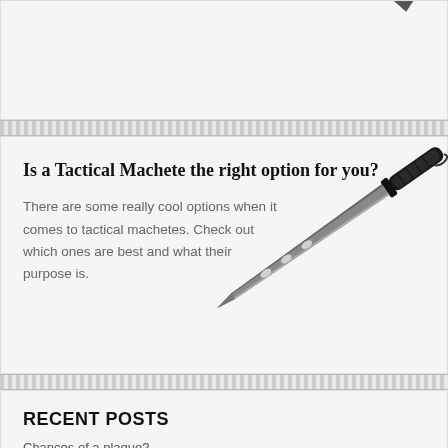[Figure (photo): Partial view of a knife/blade at the top of the page, showing just the tip and part of the blade against a light background]
Is a Tactical Machete the right option for you?
There are some really cool options when it comes to tactical machetes. Check out which ones are best and what their purpose is.
[Figure (photo): A tactical machete with a black handle and long gray blade with holes, shown diagonally across the middle section]
RECENT POSTS
Chances of a plague?